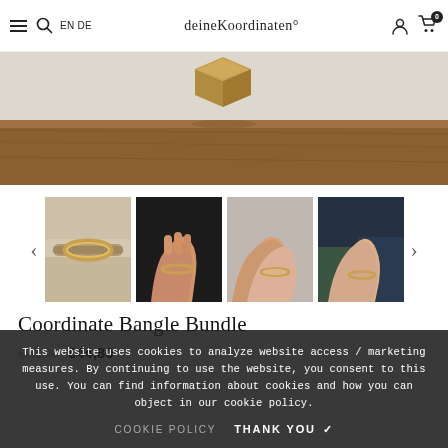≡  🔍  EN  DE   deineKoordinaten°   👤  🛒 0
[Figure (photo): Hero product photo showing a gold-colored coordinate bangle/cube floating above a wooden surface with light background]
[Figure (photo): Thumbnail 1: Gold bangle resting on a wooden branch]
[Figure (photo): Thumbnail 2: Hand with coordinate bangle bracelet against dark background]
[Figure (photo): Thumbnail 3: Couple holding hands with bangle bracelet, light background]
[Figure (photo): Thumbnail 4: Two people holding hands with bangle, dark outdoor background]
Coordinate Bangle Bundle
€44,80 (sale price, original price crossed out)
This website uses cookies to analyze website access / marketing measures. By continuing to use the website, you consent to this use. You can find information about cookies and how you can object in our cookie policy.
COOKIE POLICY   THANK YOU ✓